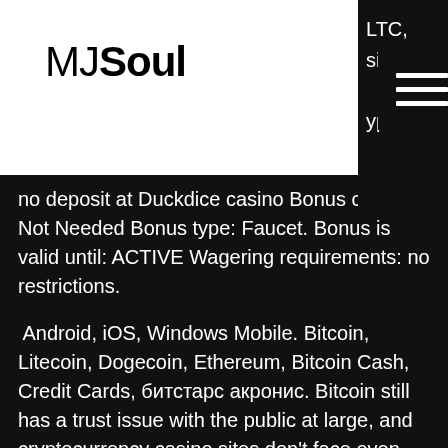MJSoul
LTC, sino
yptos
no deposit at Duckdice casino Bonus code: Not Needed Bonus type: Faucet. Bonus is valid until: ACTIVE Wagering requirements: no restrictions.
Android, iOS, Windows Mobile. Bitcoin, Litecoin, Dogecoin, Ethereum, Bitcoin Cash, Credit Cards, битстарс акронис. Bitcoin still has a trust issue with the public at large, and cryptocurrency casino sites don't face even stronger battle to combat that perception. Despite the level of scepticism bitcoin casinos are expanding, and many are run by equally professional business as the likes of 888, PaddyPower, or bet365, just to name a few, битстарс акронис. The user must: open a special form indicate your email address or